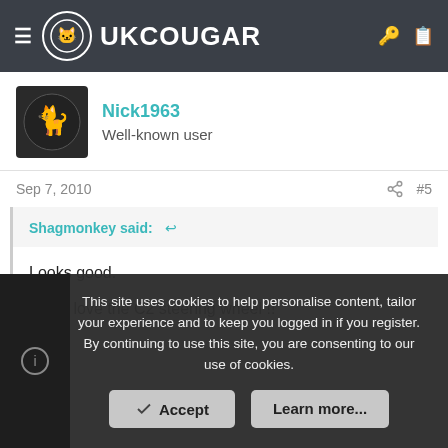UKCOUGAR
Nick1963
Well-known user
Sep 7, 2010  #5
Shagmonkey said:
Looks good.

Man I love the C2 steering wheel !!
This site uses cookies to help personalise content, tailor your experience and to keep you logged in if you register.
By continuing to use this site, you are consenting to our use of cookies.